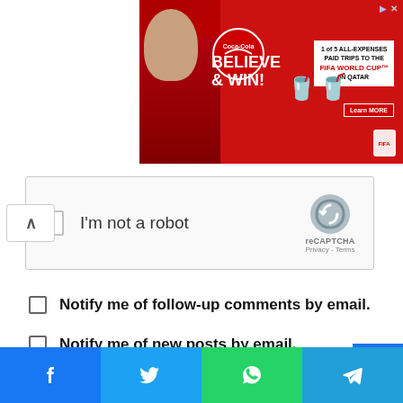[Figure (photo): Coca-Cola advertisement banner with red background showing 'BELIEVE & WIN! 1 of 5 ALL-EXPENSES PAID TRIPS TO THE FIFA WORLD CUP IN QATAR' with Coca-Cola bottles and a person drinking]
[Figure (screenshot): reCAPTCHA widget with 'I'm not a robot' label, checkbox, reCAPTCHA logo, Privacy and Terms links]
Notify me of follow-up comments by email.
Notify me of new posts by email.
Post Comment
[Figure (screenshot): Back to top button (blue arrow up) on bottom right]
[Figure (infographic): Social sharing bar with Facebook, Twitter, WhatsApp, and Telegram buttons]